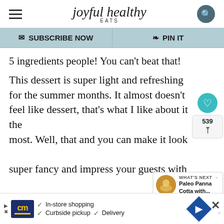joyful healthy EATS
✉ SUBSCRIBE NOW   ♡ PIN IT
5 ingredients people! You can't beat that!
This dessert is super light and refreshing for the summer months. It almost doesn't feel like dessert, that's what I like about it the most. Well, that and you can make it look super fancy and impress your guests with this dish. But little do they know how long it actually took you to make, how much you spent on it and how secretly healthy it is.
[Figure (other): WHAT'S NEXT callout with circular food image for Paleo Panna Cotta with...]
[Figure (other): Advertisement bar with CM logo, In-store shopping, Curbside pickup, Delivery options]